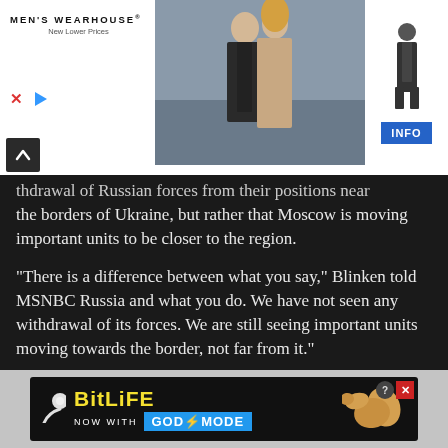[Figure (photo): Men's Wearhouse advertisement banner showing a couple in formal wear and a man in a suit, with an INFO button]
thdrawal of Russian forces from their positions near the borders of Ukraine, but rather that Moscow is moving important units to be closer to the region.
“There is a difference between what you say,” Blinken told MSNBC Russia and what you do. We have not seen any withdrawal of its forces. We are still seeing important units moving towards the border, not far from it.”
“What we need to see is the exact opposite. We want to see these forces move away,” he added.
He was the American president Joe Biden He has
[Figure (screenshot): BitLife game advertisement: NOW WITH GOD MODE, featuring a pointing hand and game logo]